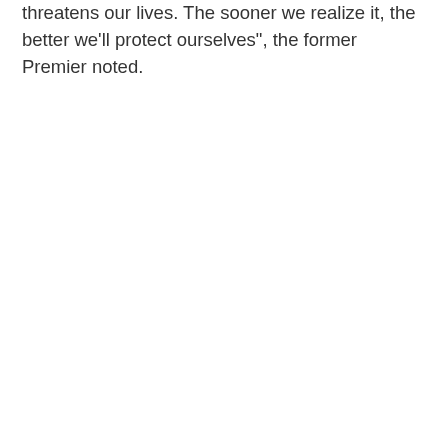threatens our lives. The sooner we realize it, the better we'll protect ourselves", the former Premier noted.